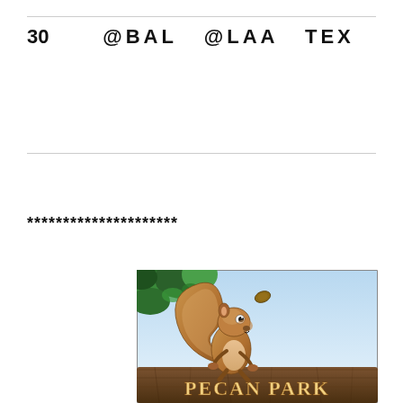30   @BAL  @LAA  TEX
*********************
[Figure (illustration): Cartoon squirrel standing on a log sign reading PECAN PARK, tossing a pecan in the air, with green tree foliage in the upper left and a light blue sky background.]